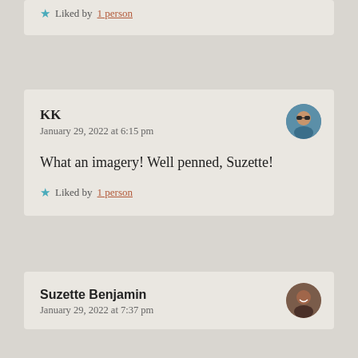Liked by 1 person
KK
January 29, 2022 at 6:15 pm
What an imagery! Well penned, Suzette!
Liked by 1 person
Suzette Benjamin
January 29, 2022 at 7:37 pm